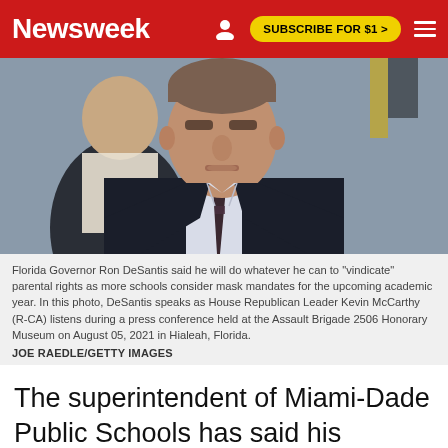Newsweek | SUBSCRIBE FOR $1 >
[Figure (photo): Close-up photo of Florida Governor Ron DeSantis in a dark suit and patterned tie, speaking at a press conference, with another person in the background]
Florida Governor Ron DeSantis said he will do whatever he can to "vindicate" parental rights as more schools consider mask mandates for the upcoming academic year. In this photo, DeSantis speaks as House Republican Leader Kevin McCarthy (R-CA) listens during a press conference held at the Assault Brigade 2506 Honorary Museum on August 05, 2021 in Hialeah, Florida.
JOE RAEDLE/GETTY IMAGES
The superintendent of Miami-Dade Public Schools has said his district, which is one the